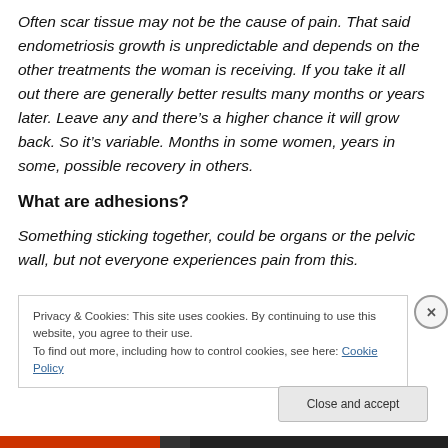Often scar tissue may not be the cause of pain. That said endometriosis growth is unpredictable and depends on the other treatments the woman is receiving. If you take it all out there are generally better results many months or years later. Leave any and there’s a higher chance it will grow back. So it’s variable. Months in some women, years in some, possible recovery in others.
What are adhesions?
Something sticking together, could be organs or the pelvic wall, but not everyone experiences pain from this.
Privacy & Cookies: This site uses cookies. By continuing to use this website, you agree to their use.
To find out more, including how to control cookies, see here: Cookie Policy
Close and accept